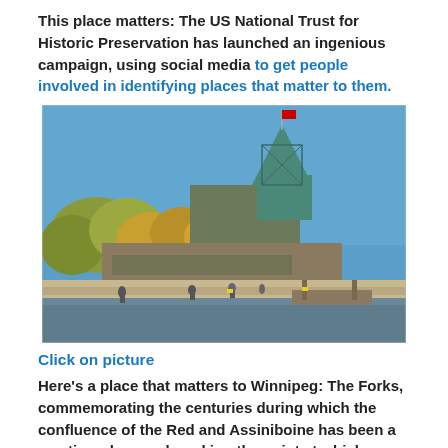This place matters: The US National Trust for Historic Preservation has launched an ingenious campaign, using social media to get people involved in identifying places that matter to them.
[Figure (photo): Colour photograph of The Forks in Winnipeg: a waterfront area with people on stone steps near a river, trees with autumn foliage, a large building with a teal pyramid/tower structure flying a Canadian flag against a clear blue sky.]
Click on picture
Here's a place that matters to Winnipeg: The Forks, commemorating the centuries during which the confluence of the Red and Assiniboine has been a meeting-place and marking the point at which Winnipeg stopped turning its back on the rivers.
3 June 2015
[Figure (photo): Black and white photograph partially visible at the bottom of the page, showing a street scene with storefronts.]